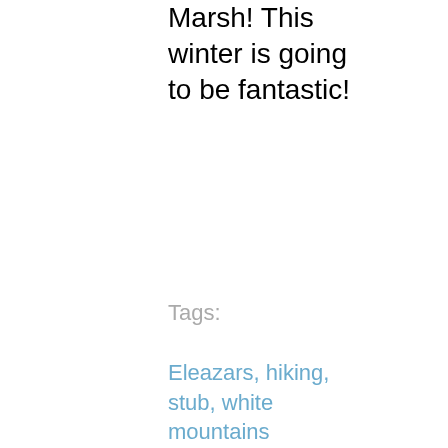Marsh! This winter is going to be fantastic!
Tags:
Eleazars, hiking, stub, white mountains
Posted in Randomness, skiing, trip reports | No Comments »
Kids in the